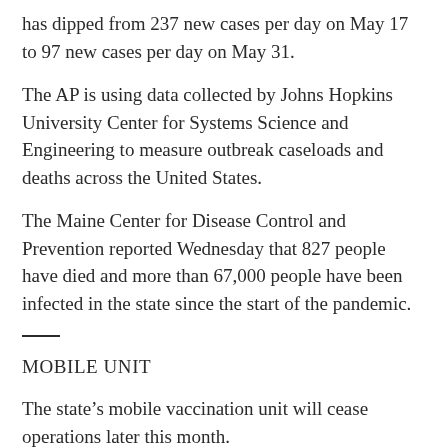has dipped from 237 new cases per day on May 17 to 97 new cases per day on May 31.
The AP is using data collected by Johns Hopkins University Center for Systems Science and Engineering to measure outbreak caseloads and deaths across the United States.
The Maine Center for Disease Control and Prevention reported Wednesday that 827 people have died and more than 67,000 people have been infected in the state since the start of the pandemic.
MOBILE UNIT
The state's mobile vaccination unit will cease operations later this month.
Maine CDC Director Dr. Nirav Shah said Wednesday that the mobile unit will wrap up in Old Orchard Beach on June 18. It was in Calais on Wednesday.